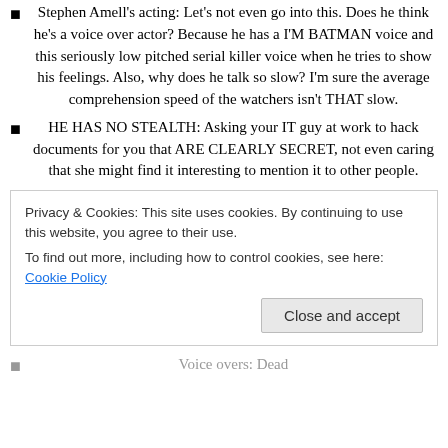Stephen Amell's acting: Let's not even go into this. Does he think he's a voice over actor? Because he has a I'M BATMAN voice and this seriously low pitched serial killer voice when he tries to show his feelings. Also, why does he talk so slow? I'm sure the average comprehension speed of the watchers isn't THAT slow.
HE HAS NO STEALTH: Asking your IT guy at work to hack documents for you that ARE CLEARLY SECRET, not even caring that she might find it interesting to mention it to other people.
Privacy & Cookies: This site uses cookies. By continuing to use this website, you agree to their use.
To find out more, including how to control cookies, see here: Cookie Policy
Voice overs: Dead...